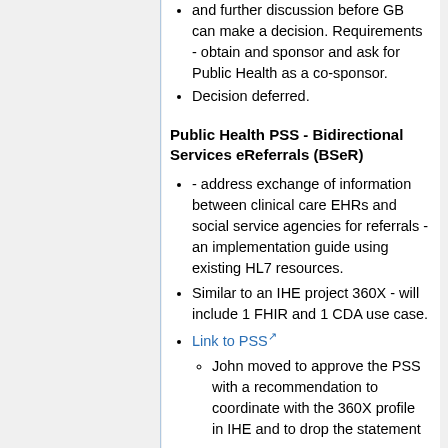and further discussion before GB can make a decision. Requirements - obtain and sponsor and ask for Public Health as a co-sponsor.
Decision deferred.
Public Health PSS - Bidirectional Services eReferrals (BSeR)
- address exchange of information between clinical care EHRs and social service agencies for referrals - an implementation guide using existing HL7 resources.
Similar to an IHE project 360X - will include 1 FHIR and 1 CDA use case.
Link to PSS
John moved to approve the PSS with a recommendation to coordinate with the 360X profile in IHE and to drop the statement